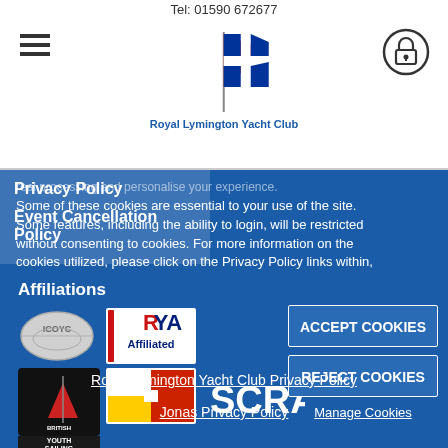Tel: 01590 672677
[Figure (logo): Royal Lymington Yacht Club logo - flag with Norwegian cross pattern, blue text below reading Royal Lymington Yacht Club]
Some of these cookies are essential to your use of the site. Some features, including the ability to login, will be restricted without consenting to cookies. For more information on the cookies utilized, please click on the Privacy Policy links within,
Privacy Policy
Event Cancellation Policy
Affiliations
[Figure (logo): ICOYC oval logo]
[Figure (logo): RYA Affiliated logo]
[Figure (logo): Hampshire flag logo]
[Figure (logo): British Youth Sailing Recognised Club logo]
[Figure (logo): SCRA logo]
ACCEPT COOKIES
REJECT COOKIES
Manage Cookies
Royal Lymington Yacht Club Privacy Policy
Jonas Privacy Policy